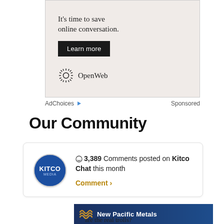[Figure (screenshot): Advertisement banner for OpenWeb with tagline 'It's time to save online conversation.' and a 'Learn more' button]
AdChoices  Sponsored
Our Community
3,389 Comments posted on Kitco Chat this month
Comment >
[Figure (screenshot): Advertisement banner for New Pacific Metals with wave logo and dark blue background]